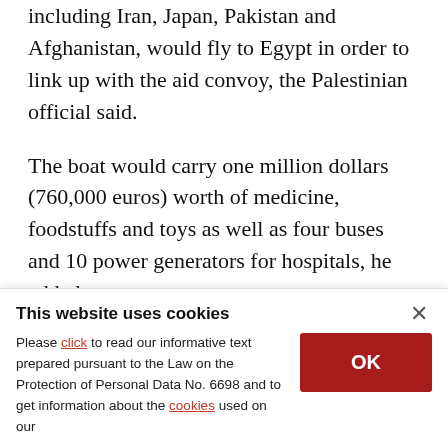including Iran, Japan, Pakistan and Afghanistan, would fly to Egypt in order to link up with the aid convoy, the Palestinian official said.
The boat would carry one million dollars (760,000 euros) worth of medicine, foodstuffs and toys as well as four buses and 10 power generators for hospitals, he added.
Israel imposed a crippling blockade on Gaza after Palestinian militants captured one of its soldiers in
This website uses cookies
Please click to read our informative text prepared pursuant to the Law on the Protection of Personal Data No. 6698 and to get information about the cookies used on our